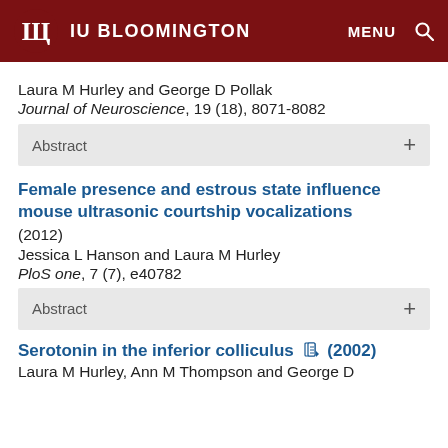IU BLOOMINGTON  MENU  🔍
Laura M Hurley and George D Pollak
Journal of Neuroscience, 19 (18), 8071-8082
Abstract  +
Female presence and estrous state influence mouse ultrasonic courtship vocalizations
(2012)
Jessica L Hanson and Laura M Hurley
PloS one, 7 (7), e40782
Abstract  +
Serotonin in the inferior colliculus  (2002)
Laura M Hurley, Ann M Thompson and George D